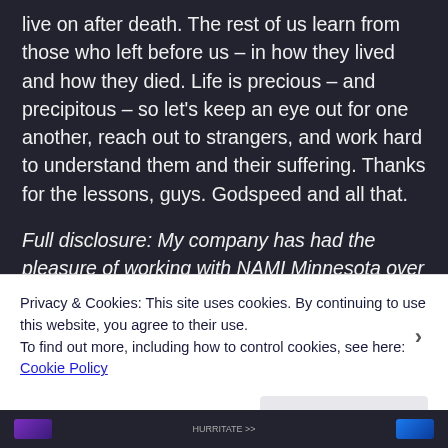live on after death. The rest of us learn from those who left before us – in how they lived and how they died. Life is precious – and precipitous – so let's keep an eye out for one another, reach out to strangers, and work hard to understand them and their suffering. Thanks for the lessons, guys. Godspeed and all that.
Full disclosure: My company has had the pleasure of working with NAMI Minnesota over the last eight or so years developing their educational materials, and it's no doubt the most important work we do.
Advertisements
Privacy & Cookies: This site uses cookies. By continuing to use this website, you agree to their use.
To find out more, including how to control cookies, see here:
Cookie Policy
Close and accept